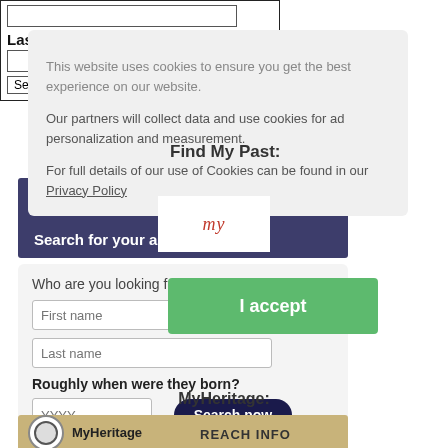Last Name:
Search
This website uses cookies to ensure you get the best experience on our website. Our partners will collect data and use cookies for ad personalization and measurement. For full details of our use of Cookies can be found in our Privacy Policy
Find My Past:
[Figure (logo): Find My Past logo with cursive 'my' text]
Search for your ancestors:
I accept
Who are you looking for?
First name
Last name
Roughly when were they born?
YYYY
Search now
MyHeritage:
[Figure (logo): MyHeritage logo with circular emblem and REACH INFO text]